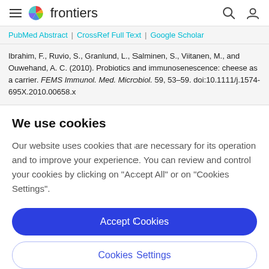frontiers
PubMed Abstract | CrossRef Full Text | Google Scholar
Ibrahim, F., Ruvio, S., Granlund, L., Salminen, S., Viitanen, M., and Ouwehand, A. C. (2010). Probiotics and immunosenescence: cheese as a carrier. FEMS Immunol. Med. Microbiol. 59, 53–59. doi:10.1111/j.1574-695X.2010.00658.x
We use cookies
Our website uses cookies that are necessary for its operation and to improve your experience. You can review and control your cookies by clicking on "Accept All" or on "Cookies Settings".
Accept Cookies
Cookies Settings